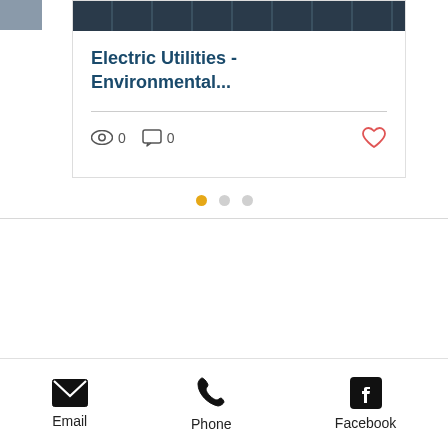[Figure (screenshot): Card with solar panel image at top, showing article titled 'Electric Utilities - Environmental...' with view count 0, comment count 0, and a heart/like button. Left and right slivers of adjacent cards visible.]
[Figure (infographic): Three pagination dots: first dot gold/active, second and third grey/inactive]
Email   Phone   Facebook